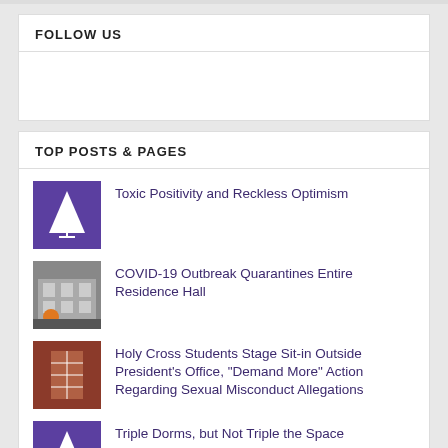FOLLOW US
[Figure (other): Empty white content area below Follow Us section]
TOP POSTS & PAGES
Toxic Positivity and Reckless Optimism
COVID-19 Outbreak Quarantines Entire Residence Hall
Holy Cross Students Stage Sit-in Outside President's Office, "Demand More" Action Regarding Sexual Misconduct Allegations
Triple Dorms, but Not Triple the Space
Lonely On The Hill: Living in the Shadows of